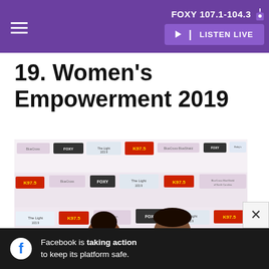FOXY 107.1-104.3  LISTEN LIVE
19. Women's Empowerment 2019
[Figure (photo): Two people posing in front of a step-and-repeat banner with logos for FOXY, The Light 103.9, K97.5, and BlueCross BlueShield of North Carolina. Person on left wearing magenta/pink outfit, person on right wearing cream/tan outfit.]
Facebook is taking action to keep its platform safe.